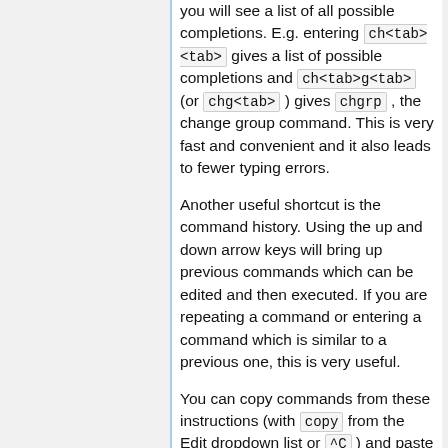you will see a list of all possible completions. E.g. entering ch<tab><tab> gives a list of possible completions and ch<tab>g<tab> (or chg<tab> ) gives chgrp , the change group command. This is very fast and convenient and it also leads to fewer typing errors.
Another useful shortcut is the command history. Using the up and down arrow keys will bring up previous commands which can be edited and then executed. If you are repeating a command or entering a command which is similar to a previous one, this is very useful.
You can copy commands from these instructions (with copy from the Edit dropdown list or ^C ) and paste them